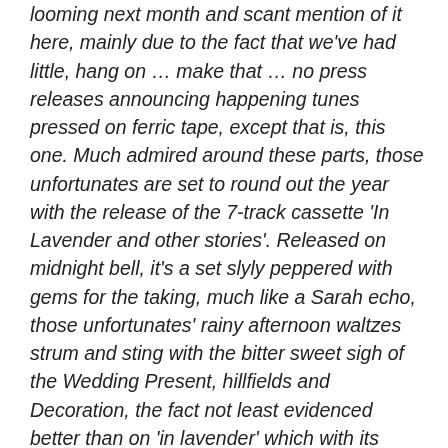looming next month and scant mention of it here, mainly due to the fact that we've had little, hang on … make that … no press releases announcing happening tunes pressed on ferric tape, except that is, this one. Much admired around these parts, those unfortunates are set to round out the year with the release of the 7-track cassette 'In Lavender and other stories'. Released on midnight bell, it's a set slyly peppered with gems for the taking, much like a Sarah echo, those unfortunates' rainy afternoon waltzes strum and sting with the bitter sweet sigh of the Wedding Present, hillfields and Decoration, the fact not least evidenced better than on 'in lavender' which with its thoughtful reflection wearily hanging heavy shuffles effervescently through a haze of what if's and might have's. somewhere else 'druid lane' is kissed with a distractively 60's beat pop phrasing that to these ears